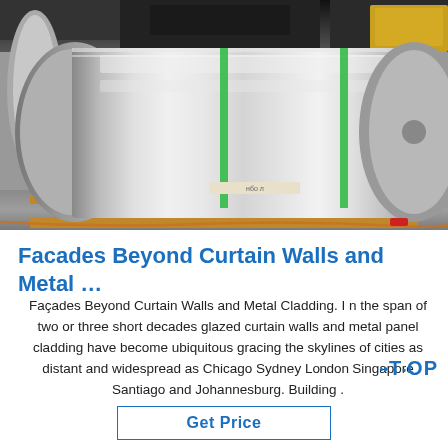[Figure (photo): Large metal coil/roll on a wooden pallet inside an industrial warehouse, with overhead machinery visible at the top. Green strapping bands hold the coil. The setting is a metal fabrication or distribution facility.]
Facades Beyond Curtain Walls and Metal …
Façades Beyond Curtain Walls and Metal Cladding. I n the span of two or three short decades glazed curtain walls and metal panel cladding have become ubiquitous gracing the skylines of cities as distant and widespread as Chicago Sydney London Singapore Santiago and Johannesburg. Building .
Get Price